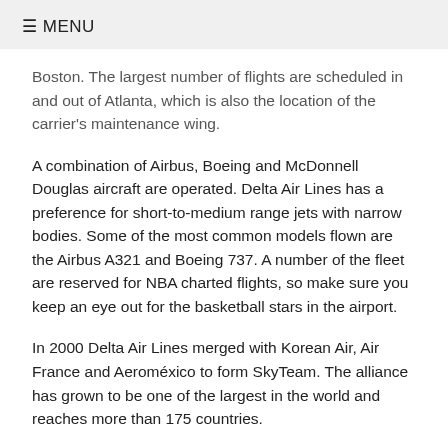≡ MENU
Boston. The largest number of flights are scheduled in and out of Atlanta, which is also the location of the carrier's maintenance wing.
A combination of Airbus, Boeing and McDonnell Douglas aircraft are operated. Delta Air Lines has a preference for short-to-medium range jets with narrow bodies. Some of the most common models flown are the Airbus A321 and Boeing 737. A number of the fleet are reserved for NBA charted flights, so make sure you keep an eye out for the basketball stars in the airport.
In 2000 Delta Air Lines merged with Korean Air, Air France and Aeroméxico to form SkyTeam. The alliance has grown to be one of the largest in the world and reaches more than 175 countries.